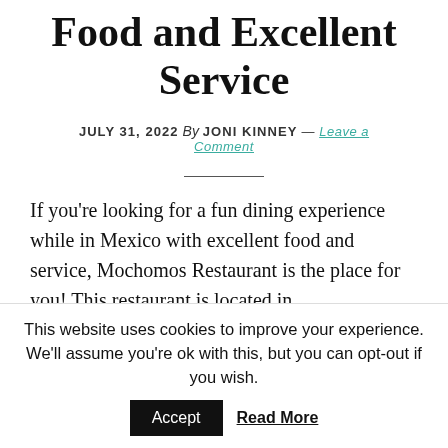Food and Excellent Service
JULY 31, 2022 By JONI KINNEY — Leave a Comment
If you're looking for a fun dining experience while in Mexico with excellent food and service, Mochomos Restaurant is the place for you! This restaurant is located in
This website uses cookies to improve your experience. We'll assume you're ok with this, but you can opt-out if you wish.